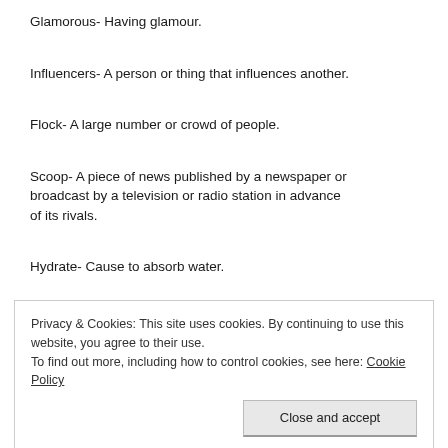Glamorous- Having glamour.
Influencers- A person or thing that influences another.
Flock- A large number or crowd of people.
Scoop- A piece of news published by a newspaper or broadcast by a television or radio station in advance of its rivals.
Hydrate- Cause to absorb water.
Privacy & Cookies: This site uses cookies. By continuing to use this website, you agree to their use.
To find out more, including how to control cookies, see here: Cookie Policy